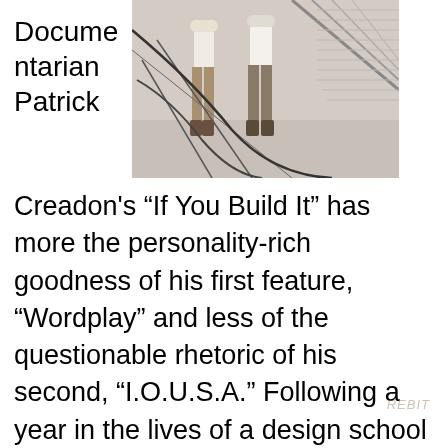[Figure (photo): Two people standing in what appears to be an indoor space with a chain-link or mesh structure. The image is in black and white tones.]
Documentarian Patrick Creadon's “If You Build It” has more the personality-rich goodness of his first feature, “Wordplay” and less of the questionable rhetoric of his second, “I.O.U.S.A.” Following a year in the lives of a design school for teenagers in the town of Windsor in the poorest county of North Carolina, Creadon has described his film as “‘This Old House’ meets ‘The Breakfast Club,’” and that’s a decent description of the welcoming warmth of his story. Two activist designers, Emily Pilloton and Matt Miller teach to high school students during the